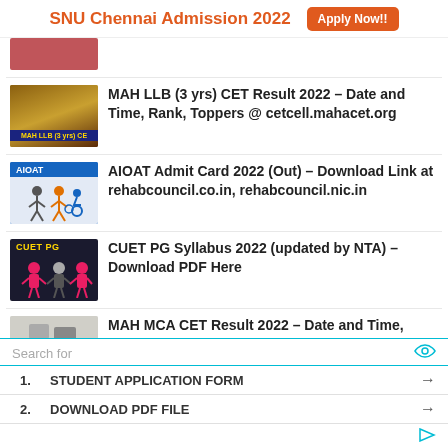SNU Chennai Admission 2022  Apply Now!!
[Figure (photo): Partially visible thumbnail image, cut off at top, reddish tones]
MAH LLB (3 yrs) CET Result 2022 – Date and Time, Rank, Toppers @ cetcell.mahacet.org
AIOAT Admit Card 2022 (Out) – Download Link at rehabcouncil.co.in, rehabcouncil.nic.in
CUET PG Syllabus 2022 (updated by NTA) – Download PDF Here
MAH MCA CET Result 2022 – Date and Time, Rank, Toppers @ cetcell.mahacet.org, Methodology
Search for
1.  STUDENT APPLICATION FORM  →
2.  DOWNLOAD PDF FILE  →